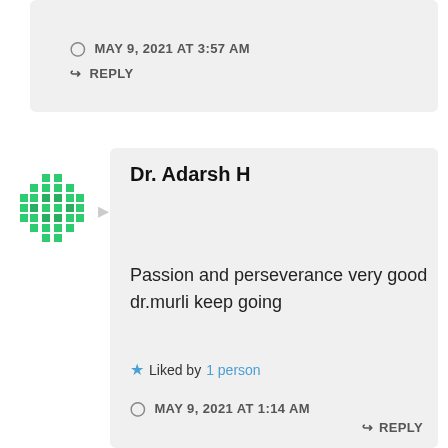MAY 9, 2021 AT 3:57 AM
REPLY
[Figure (illustration): Green pixel/mosaic avatar icon for Dr. Adarsh H]
Dr. Adarsh H
Passion and perseverance very good dr.murli keep going
Liked by 1 person
MAY 9, 2021 AT 1:14 AM
REPLY